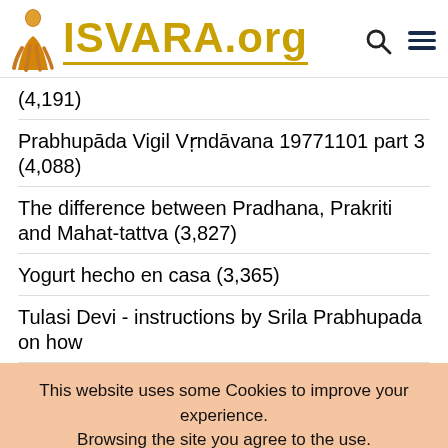ISVARA.org
(4,191)
Prabhupāda Vigil Vṛndāvana 19771101 part 3 (4,088)
The difference between Pradhana, Prakriti and Mahat-tattva (3,827)
Yogurt hecho en casa (3,365)
Tulasi Devi - instructions by Srila Prabhupada on how
This website uses some Cookies to improve your experience. Browsing the site you agree to the use. Questo sito utilizza alcuni Cookie di supporto per una migliore esperienza di navigazione. Navigando sul sito ne accetti l'uso.
Read More  OK Close  Cookie Settings
English